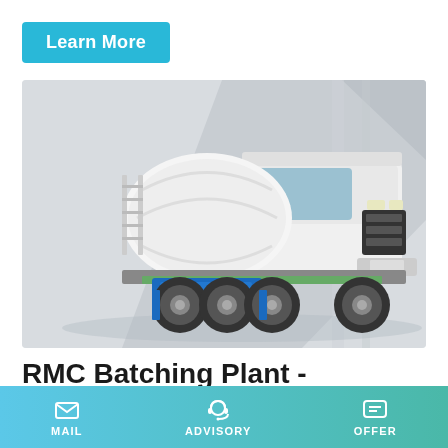Learn More
[Figure (photo): A white concrete mixer truck (RMC transit mixer) on a light grey geometric background, with blue undercarriage details and large off-road tires.]
RMC Batching Plant - Brickvision Equipments Pvt Ltd
MAIL   ADVISORY   OFFER